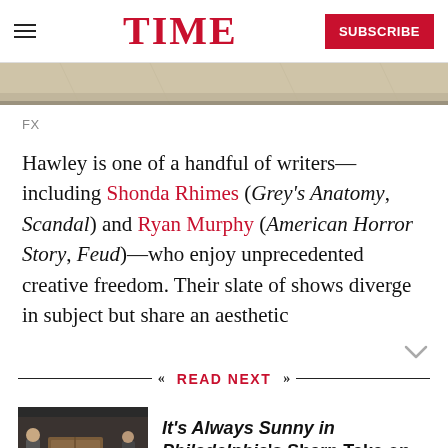TIME | SUBSCRIBE
FX
Hawley is one of a handful of writers—including Shonda Rhimes (Grey's Anatomy, Scandal) and Ryan Murphy (American Horror Story, Feud)—who enjoy unprecedented creative freedom. Their slate of shows diverge in subject but share an aesthetic
READ NEXT
[Figure (photo): Photo of people on a street scene, related to It's Always Sunny in Philadelphia]
It's Always Sunny in Philadelphia's Sharp Take on Coming Out Is Perfect for 2017